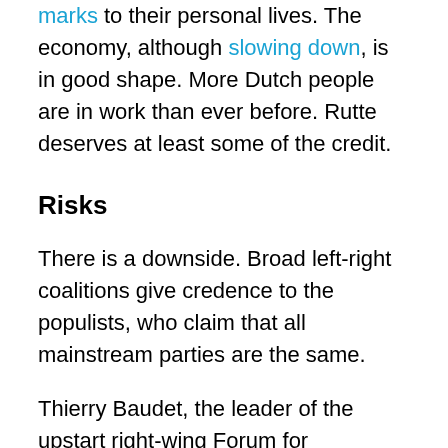marks to their personal lives. The economy, although slowing down, is in good shape. More Dutch people are in work than ever before. Rutte deserves at least some of the credit.
Risks
There is a downside. Broad left-right coalitions give credence to the populists, who claim that all mainstream parties are the same.
Thierry Baudet, the leader of the upstart right-wing Forum for Democracy, complains that the Netherlands is ruled by an undemocratic “party cartel”. Geert Wilders of the nationalist Freedom Party claims a vote for Rutte is a vote for the Greens.
Support for the Freedom Party has been stable around 12 percent since the last election. Forum for Democracy is up from 2 to 2-10 percent. Both parties together, EU it...